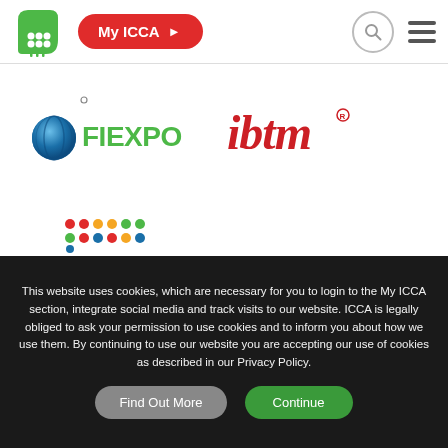[Figure (logo): ICCA logo - green stylized figure with dots]
[Figure (logo): My ICCA red pill button with arrow]
[Figure (logo): FIEXPO logo - blue sphere with green text]
[Figure (logo): ibtm logo - red bold italic text]
[Figure (logo): imex GROUP logo - colored dots grid with red/dark text]
This website uses cookies, which are necessary for you to login to the My ICCA section, integrate social media and track visits to our website. ICCA is legally obliged to ask your permission to use cookies and to inform you about how we use them. By continuing to use our website you are accepting our use of cookies as described in our Privacy Policy.